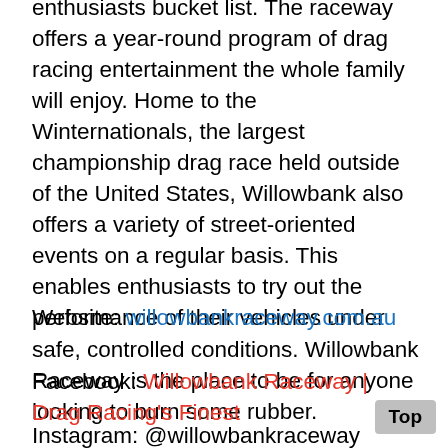enthusiasts bucket list. The raceway offers a year-round program of drag racing entertainment the whole family will enjoy. Home to the Winternationals, the largest championship drag race held outside of the United States, Willowbank also offers a variety of street-oriented events on a regular basis. This enables enthusiasts to try out the performance of their vehicles under safe, controlled conditions. Willowbank Raceway is the place to be for anyone looking to burn some rubber.
Website: willowbankraceway.com.au
Facebook: Willowbank Raceway | Drag Racing's Finest
Instagram: @willowbankraceway